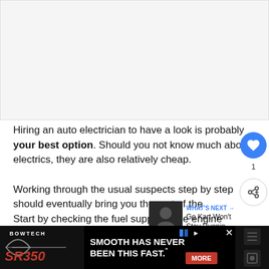[Figure (photo): Light gray placeholder image area at top of page]
Hiring an auto electrician to have a look is probably your best option. Should you not know much about electrics, they are also relatively cheap.
Working through the usual suspects step by step should eventually bring you the root of the problem. Start by checking the fuel supply to the engine (ca...
[Figure (screenshot): Bowtech SR350 advertisement banner at bottom of page with 'SMOOTH HAS NEVER BEEN THIS FAST.' tagline and MORE button]